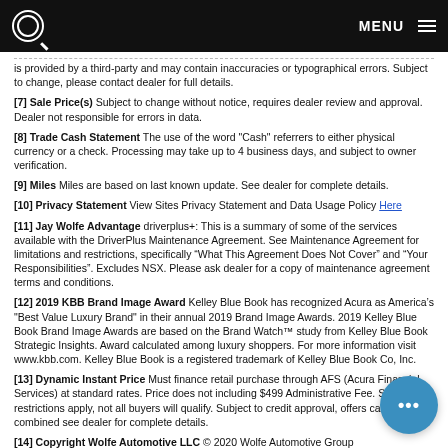MENU
is provided by a third-party and may contain inaccuracies or typographical errors. Subject to change, please contact dealer for full details.
[7] Sale Price(s) Subject to change without notice, requires dealer review and approval. Dealer not responsible for errors in data.
[8] Trade Cash Statement The use of the word "Cash" referrers to either physical currency or a check. Processing may take up to 4 business days, and subject to owner verification.
[9] Miles Miles are based on last known update. See dealer for complete details.
[10] Privacy Statement View Sites Privacy Statement and Data Usage Policy Here
[11] Jay Wolfe Advantage driverplus+: This is a summary of some of the services available with the DriverPlus Maintenance Agreement. See Maintenance Agreement for limitations and restrictions, specifically “What This Agreement Does Not Cover” and “Your Responsibilities”. Excludes NSX. Please ask dealer for a copy of maintenance agreement terms and conditions.
[12] 2019 KBB Brand Image Award Kelley Blue Book has recognized Acura as America’s "Best Value Luxury Brand" in their annual 2019 Brand Image Awards. 2019 Kelley Blue Book Brand Image Awards are based on the Brand Watch™ study from Kelley Blue Book Strategic Insights. Award calculated among luxury shoppers. For more information visit www.kbb.com. Kelley Blue Book is a registered trademark of Kelley Blue Book Co, Inc.
[13] Dynamic Instant Price Must finance retail purchase through AFS (Acura Financial Services) at standard rates. Price does not including $499 Administrative Fee. Some restrictions apply, not all buyers will qualify. Subject to credit approval, offers can not be combined see dealer for complete details.
[14] Copyright Wolfe Automotive LLC © 2020 Wolfe Automotive Group LLC. Unless otherwise stated All Rights Reserved. Unauthorized use of content or images is pro…